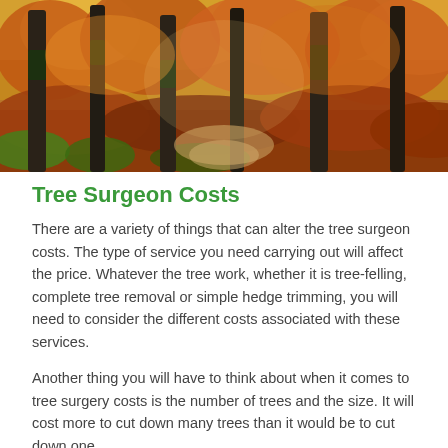[Figure (photo): Autumn forest scene with tall trees, orange and red foliage covering the ground and branches, sunlight filtering through.]
Tree Surgeon Costs
There are a variety of things that can alter the tree surgeon costs. The type of service you need carrying out will affect the price. Whatever the tree work, whether it is tree-felling, complete tree removal or simple hedge trimming, you will need to consider the different costs associated with these services.
Another thing you will have to think about when it comes to tree surgery costs is the number of trees and the size. It will cost more to cut down many trees than it would be to cut down one.
We recommend creating a budget that you'd like to stick to and letting us know beforehand. Our professional team will do our best to keep costs as low as possible and remain within your budget. If